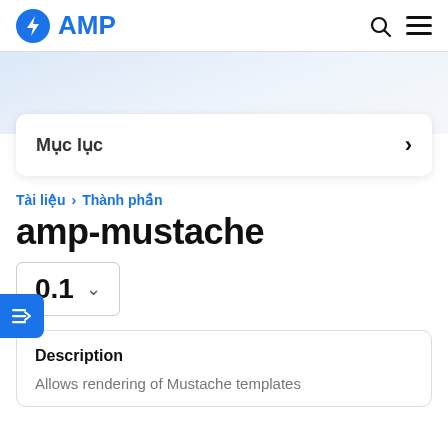AMP
Mục lục
Tài liệu > Thành phần
amp-mustache
0.1
Description
Allows rendering of Mustache templates